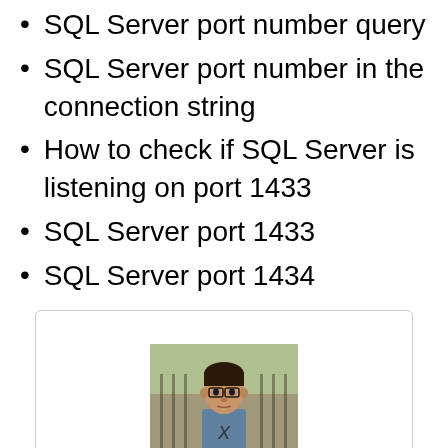SQL Server port number query
SQL Server port number in the connection string
How to check if SQL Server is listening on port 1433
SQL Server port 1433
SQL Server port 1434
[Figure (photo): Headshot photo of a person wearing glasses, appearing to be outdoors]
X